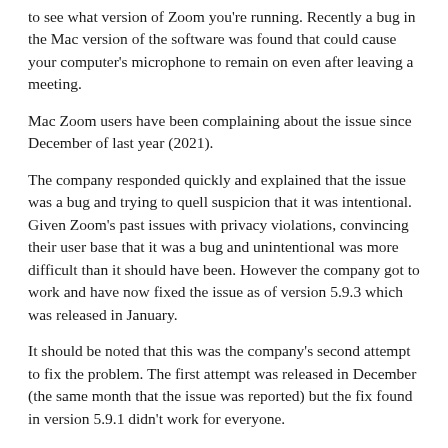to see what version of Zoom you're running. Recently a bug in the Mac version of the software was found that could cause your computer's microphone to remain on even after leaving a meeting.
Mac Zoom users have been complaining about the issue since December of last year (2021).
The company responded quickly and explained that the issue was a bug and trying to quell suspicion that it was intentional. Given Zoom's past issues with privacy violations, convincing their user base that it was a bug and unintentional was more difficult than it should have been. However the company got to work and have now fixed the issue as of version 5.9.3 which was released in January.
It should be noted that this was the company's second attempt to fix the problem. The first attempt was released in December (the same month that the issue was reported) but the fix found in version 5.9.1 didn't work for everyone.
With the release of version 5.9.3, the company also issued the following statement: